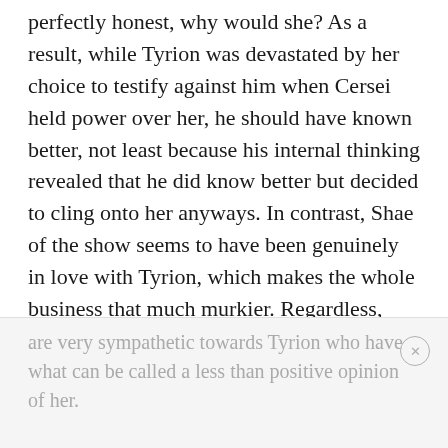perfectly honest, why would she? As a result, while Tyrion was devastated by her choice to testify against him when Cersei held power over her, he should have known better, not least because his internal thinking revealed that he did know better but decided to cling onto her anyways. In contrast, Shae of the show seems to have been genuinely in love with Tyrion, which makes the whole business that much murkier. Regardless, both Shae of the books and Shae of the show met with a similar fate because of similar choices, so it should come as no surprise to learn that there are a lot of people who
are very sympathetic towards Tyrion who have what can be called a less than positive opinion of her.